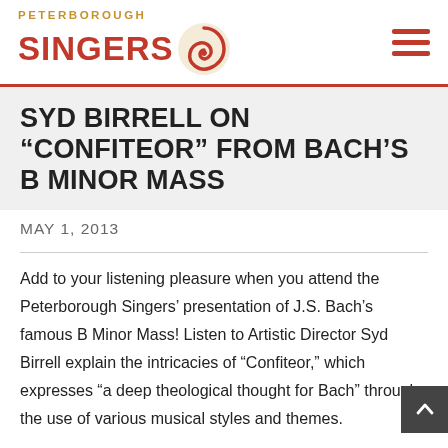[Figure (logo): Peterborough Singers logo with text and orange/red swirl icon]
SYD BIRRELL ON “CONFITEOR” FROM BACH’S B MINOR MASS
MAY 1, 2013
Add to your listening pleasure when you attend the Peterborough Singers’ presentation of J.S. Bach’s famous B Minor Mass! Listen to Artistic Director Syd Birrell explain the intricacies of “Confiteor,” which expresses “a deep theological thought for Bach” through the use of various musical styles and themes.